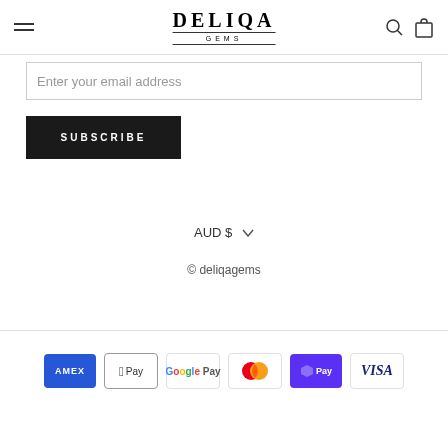DELIQA GEMS
Enter your email address
SUBSCRIBE
AUD $
© deliqagems
[Figure (other): Payment method icons: American Express, Apple Pay, Google Pay, Mastercard, Shop Pay, Visa]